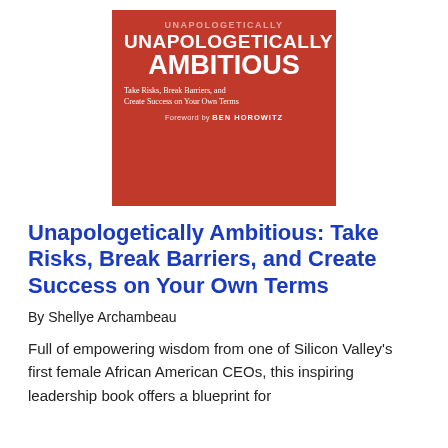[Figure (illustration): Book cover of 'Unapologetically Ambitious: Take Risks, Break Barriers, and Create Success on Your Own Terms' by Shellye Archambeau. Red background with white bold text. Foreword by Ben Horowitz.]
Unapologetically Ambitious: Take Risks, Break Barriers, and Create Success on Your Own Terms
By Shellye Archambeau
Full of empowering wisdom from one of Silicon Valley's first female African American CEOs, this inspiring leadership book offers a blueprint for